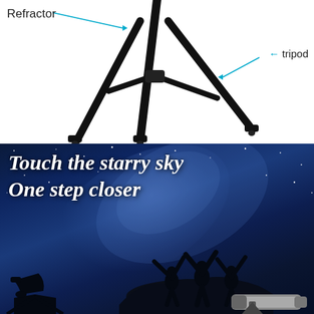[Figure (photo): Close-up photo of a telescope tripod legs (black metal) on white background with labels: 'Refractor' pointing to upper left with a cyan arrow, and 'tripod' pointing to the right leg with a cyan arrow]
[Figure (photo): Night sky photo with Milky Way galaxy visible in deep blue tones. Three silhouetted people stand with arms raised on a rocky outcrop. Two telescopes are in the foreground silhouette. Bold italic white text reads: 'Touch the starry sky / One step closer']